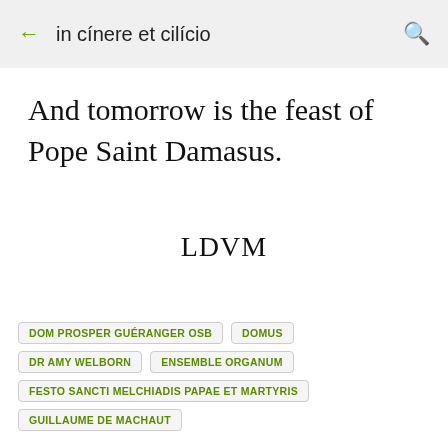in cínere et cilício
And tomorrow is the feast of Pope Saint Damasus.
LDVM
DOM PROSPER GUÉRANGER OSB
DOMUS
DR AMY WELBORN
ENSEMBLE ORGANUM
FESTO SANCTI MELCHIADIS PAPAE ET MARTYRIS
GUILLAUME DE MACHAUT